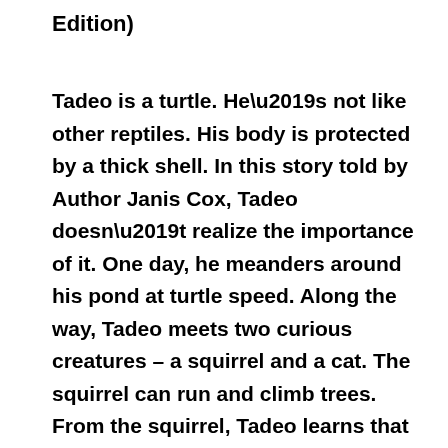Edition)
Tadeo is a turtle. He’s not like other reptiles. His body is protected by a thick shell. In this story told by Author Janis Cox, Tadeo doesn’t realize the importance of it. One day, he meanders around his pond at turtle speed. Along the way, Tadeo meets two curious creatures – a squirrel and a cat. The squirrel can run and climb trees. From the squirrel, Tadeo learns that his name is Sammy.